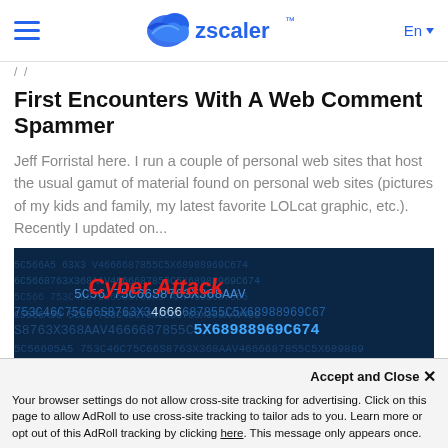Zscaler - En
First Encounters With A Web Comment Spammer
Jeff Forristal here. I run a couple of personal web sites that host the usual gamut of material found on personal web sites (pictures of my kids and family, my latest favorite LOLcat graphic, etc.). Recently I updated on...
[Figure (photo): Dark blue cyber security themed background image with hexadecimal code strings and red 'Cyber Attack' text overlay]
Accept and Close ✕
Your browser settings do not allow cross-site tracking for advertising. Click on this page to allow AdRoll to use cross-site tracking to tailor ads to you. Learn more or opt out of this AdRoll tracking by clicking here. This message only appears once.